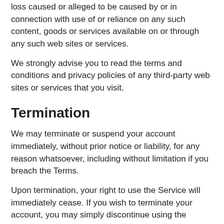loss caused or alleged to be caused by or in connection with use of or reliance on any such content, goods or services available on or through any such web sites or services.
We strongly advise you to read the terms and conditions and privacy policies of any third-party web sites or services that you visit.
Termination
We may terminate or suspend your account immediately, without prior notice or liability, for any reason whatsoever, including without limitation if you breach the Terms.
Upon termination, your right to use the Service will immediately cease. If you wish to terminate your account, you may simply discontinue using the Service.
Limitation of Liability